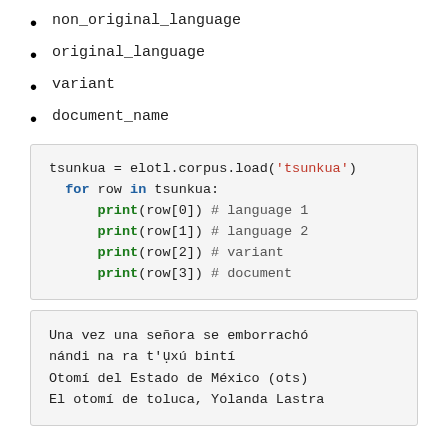non_original_language
original_language
variant
document_name
tsunkua = elotl.corpus.load('tsunkua')
  for row in tsunkua:
      print(row[0]) # language 1
      print(row[1]) # language 2
      print(row[2]) # variant
      print(row[3]) # document
Una vez una señora se emborrachó
nándi na ra t'ụxú bintí
Otomí del Estado de México (ots)
El otomí de toluca, Yolanda Lastra